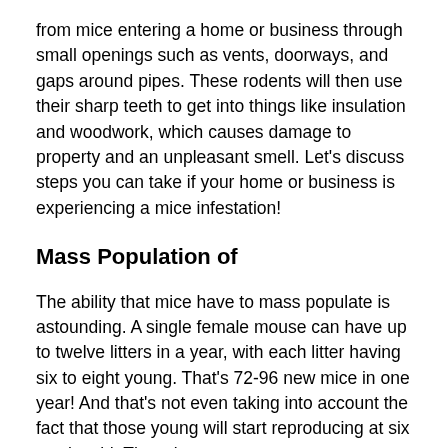from mice entering a home or business through small openings such as vents, doorways, and gaps around pipes. These rodents will then use their sharp teeth to get into things like insulation and woodwork, which causes damage to property and an unpleasant smell. Let's discuss steps you can take if your home or business is experiencing a mice infestation!
Mass Population of
The ability that mice have to mass populate is astounding. A single female mouse can have up to twelve litters in a year, with each litter having six to eight young. That's 72-96 new mice in one year! And that's not even taking into account the fact that those young will start reproducing at six weeks old. There is no